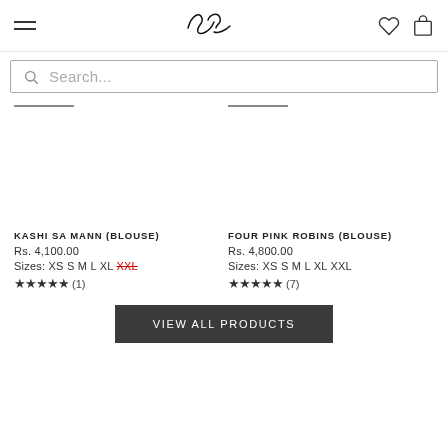Suta logo, hamburger menu, wishlist and bag icons
Search...
KASHI SA MANN (BLOUSE)
Rs. 4,100.00
Sizes: XS S M L XL XXL
★★★★★ (1)
FOUR PINK ROBINS (BLOUSE)
Rs. 4,800.00
Sizes: XS S M L XL XXL
★★★★★ (7)
VIEW ALL PRODUCTS